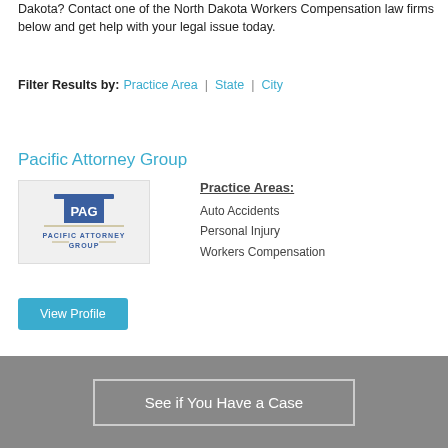Dakota? Contact one of the North Dakota Workers Compensation law firms below and get help with your legal issue today.
Filter Results by: Practice Area | State | City
Pacific Attorney Group
[Figure (logo): Pacific Attorney Group logo with PAG initials and full name]
Practice Areas:
Auto Accidents
Personal Injury
Workers Compensation
View Profile
See if You Have a Case